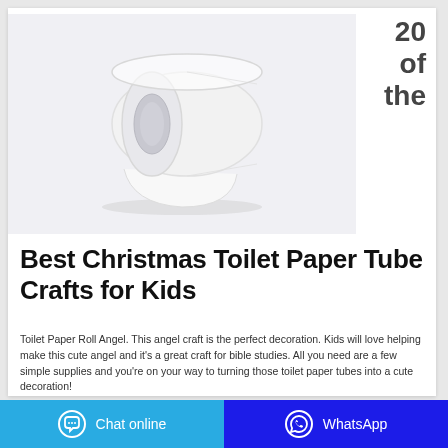[Figure (photo): A single white toilet paper roll photographed on a light grey/white background, shown from a slight angle with the roll standing upright and the paper trailing.]
20 of the
Best Christmas Toilet Paper Tube Crafts for Kids
Toilet Paper Roll Angel. This angel craft is the perfect decoration. Kids will love helping make this cute angel and it's a great craft for bible studies. All you need are a few simple supplies and you're on your way to turning those toilet paper tubes into a cute decoration!
Chat online   WhatsApp